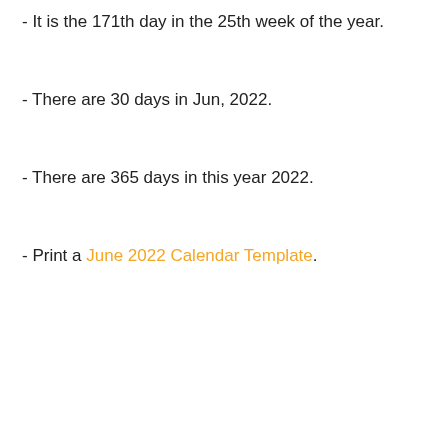- It is the 171th day in the 25th week of the year.
- There are 30 days in Jun, 2022.
- There are 365 days in this year 2022.
- Print a June 2022 Calendar Template.